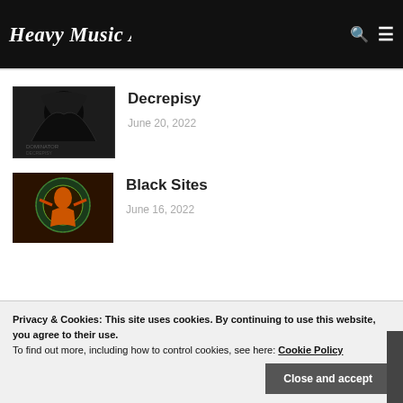Heavy Music Artwork
Decrepisy
June 20, 2022
Black Sites
June 16, 2022
Privacy & Cookies: This site uses cookies. By continuing to use this website, you agree to their use. To find out more, including how to control cookies, see here: Cookie Policy
Close and accept